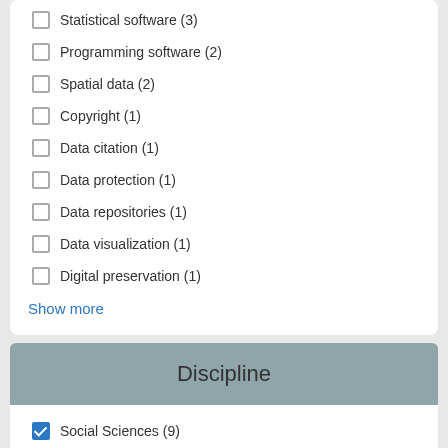Statistical software (3)
Programming software (2)
Spatial data (2)
Copyright (1)
Data citation (1)
Data protection (1)
Data repositories (1)
Data visualization (1)
Digital preservation (1)
Show more
Discipline
Social Sciences (9)
All disciplines (12)
Digital humanities (3)
Arts and Humanities (1)
Computational Linguistics (1)
Corpus Linguistics (1)